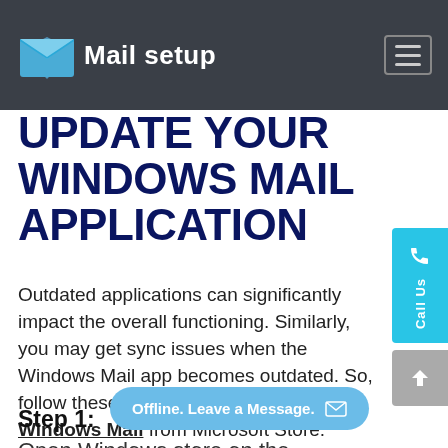Mail setup
UPDATE YOUR WINDOWS MAIL APPLICATION
Outdated applications can significantly impact the overall functioning. Similarly, you may get sync issues when the Windows Mail app becomes outdated. So, follow these instructions to update Windows Mail from Microsoft Store.
Step 1:
Open Windows store on the...